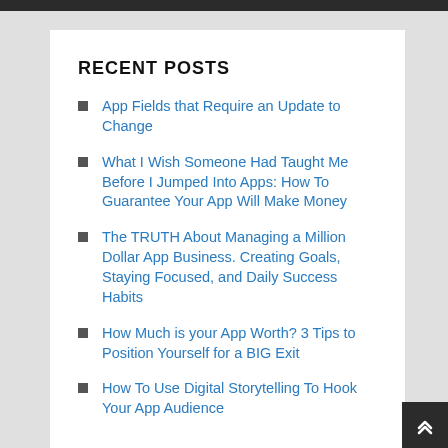RECENT POSTS
App Fields that Require an Update to Change
What I Wish Someone Had Taught Me Before I Jumped Into Apps: How To Guarantee Your App Will Make Money
The TRUTH About Managing a Million Dollar App Business. Creating Goals, Staying Focused, and Daily Success Habits
How Much is your App Worth? 3 Tips to Position Yourself for a BIG Exit
How To Use Digital Storytelling To Hook Your App Audience